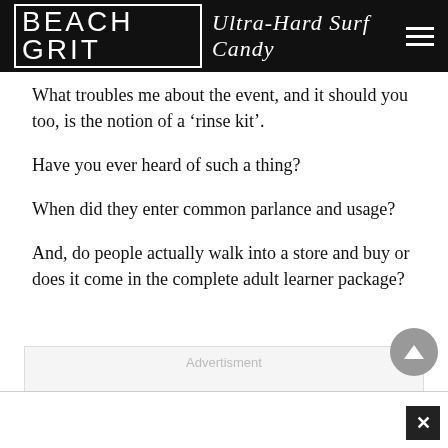BEACH GRIT Ultra-Hard Surf Candy
What troubles me about the event, and it should you too, is the notion of a ‘rinse kit’.
Have you ever heard of such a thing?
When did they enter common parlance and usage?
And, do people actually walk into a store and buy or does it come in the complete adult learner package?
[Figure (other): Advertisement placeholder box with light grey background and 'Advertisment' label text]